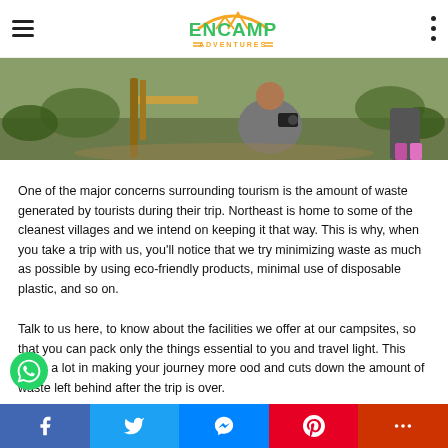ENCAMP ADVENTURES
[Figure (photo): Outdoor photo of a person squatting with a camera in a village/garden setting with green plants and wooden structures]
One of the major concerns surrounding tourism is the amount of waste generated by tourists during their trip. Northeast is home to some of the cleanest villages and we intend on keeping it that way. This is why, when you take a trip with us, you'll notice that we try minimizing waste as much as possible by using eco-friendly products, minimal use of disposable plastic, and so on.
Talk to us here, to know about the facilities we offer at our campsites, so that you can pack only the things essential to you and travel light. This helps a lot in making your journey more ood and cuts down the amount of waste left behind after the trip is over.
Facebook | Twitter | Messenger | Pinterest | More